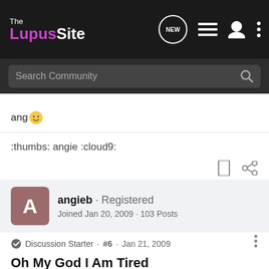The Lupus Site
ang 🙂
:thumbs: angie :cloud9:
angieb · Registered
Joined Jan 20, 2009 · 103 Posts
Discussion Starter · #6 · Jan 21, 2009
Oh My God I Am Tired